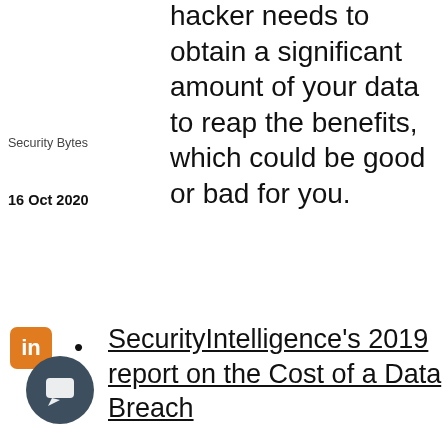Security Bytes
16 Oct 2020
hacker needs to obtain a significant amount of your data to reap the benefits, which could be good or bad for you.
SecurityIntelligence’s 2019 report on the Cost of a Data Breach
t the “global data breach … is 5 percent increase from its 2018 study. According to SeurityIntelligence’s reporting, the average total cost
Hello! My name is Eric, are you currently suffering a ransomware incident?